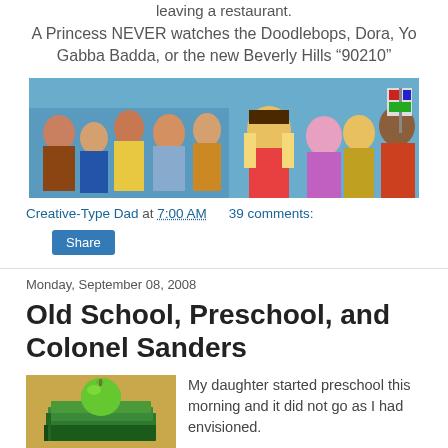leaving a restaurant.
A Princess NEVER watches the Doodlebops, Dora, Yo Gabba Badda, or the new Beverly Hills “90210”
[Figure (photo): Collage banner image showing cast of Beverly Hills 90210 on left (teens at a pool) and cartoon characters Dora the Explorer and others on right]
Creative-Type Dad at 7:00 AM     39 comments:
Share
Monday, September 08, 2008
Old School, Preschool, and Colonel Sanders
[Figure (photo): Photo of school books stacked with a green apple on top]
My daughter started preschool this morning and it did not go as I had envisioned.